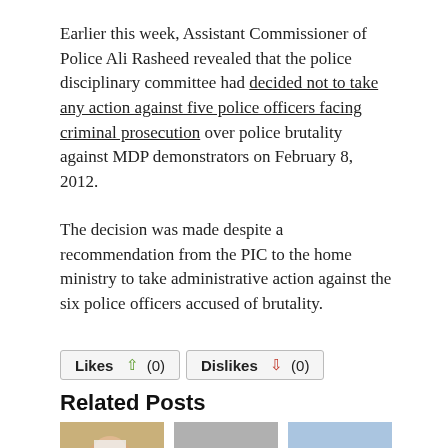Earlier this week, Assistant Commissioner of Police Ali Rasheed revealed that the police disciplinary committee had decided not to take any action against five police officers facing criminal prosecution over police brutality against MDP demonstrators on February 8, 2012.
The decision was made despite a recommendation from the PIC to the home ministry to take administrative action against the six police officers accused of brutality.
Likes (0)  Dislikes (0)
Related Posts
[Figure (photo): Three thumbnail images for related posts: a person lying in a hospital bed with bandages, a grey placeholder image, and a light blue sky image.]